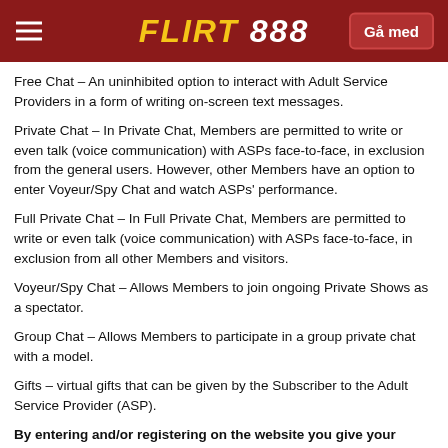FLIRT 888 | Gå med
Free Chat – An uninhibited option to interact with Adult Service Providers in a form of writing on-screen text messages.
Private Chat – In Private Chat, Members are permitted to write or even talk (voice communication) with ASPs face-to-face, in exclusion from the general users. However, other Members have an option to enter Voyeur/Spy Chat and watch ASPs' performance.
Full Private Chat – In Full Private Chat, Members are permitted to write or even talk (voice communication) with ASPs face-to-face, in exclusion from all other Members and visitors.
Voyeur/Spy Chat – Allows Members to join ongoing Private Shows as a spectator.
Group Chat – Allows Members to participate in a group private chat with a model.
Gifts – virtual gifts that can be given by the Subscriber to the Adult Service Provider (ASP).
By entering and/or registering on the website you give your consent to and accept the following:
1.1. Playboy Models via Webcam Chats is an online adult interactive website (including nude and non-nude erotic and sexual content). Therefore, its access by minors is prohibited. The access to Playboy Models via Webcam Chats is not guaranteed to any person who is under legal age.